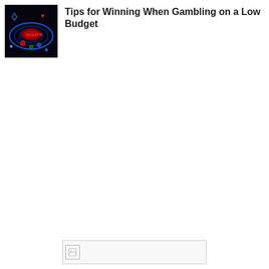[Figure (photo): Thumbnail image of a casino roulette table with neon glowing lights and playing card suit symbols on a dark background]
Tips for Winning When Gambling on a Low Budget
[Figure (photo): Broken/missing image placeholder icon at bottom of page]